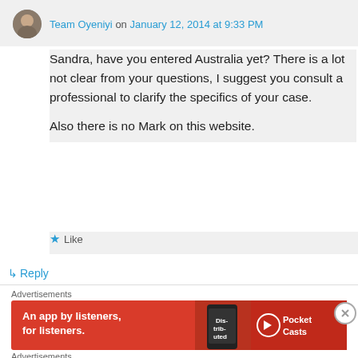Team Oyeniyi on January 12, 2014 at 9:33 PM
Sandra, have you entered Australia yet? There is a lot not clear from your questions, I suggest you consult a professional to clarify the specifics of your case.

Also there is no Mark on this website.
★ Like
↳ Reply
Advertisements
[Figure (infographic): Red banner ad for Pocket Casts: 'An app by listeners, for listeners.' with phone graphic and Pocket Casts logo]
Advertisements
[Figure (infographic): Red and dark banner ad for DuckDuckGo: 'Search, browse, and email with more privacy. All in One Free App' with DuckDuckGo logo]